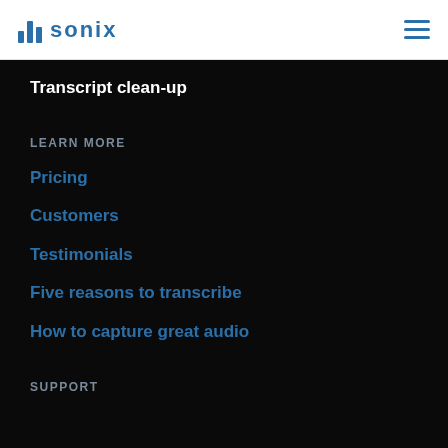sonix
Transcript clean-up
LEARN MORE
Pricing
Customers
Testimonials
Five reasons to transcribe
How to capture great audio
SUPPORT